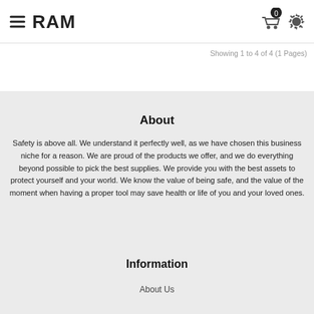RAM
Showing 1 to 4 of 4 (1 Pages)
About
Safety is above all. We understand it perfectly well, as we have chosen this business niche for a reason. We are proud of the products we offer, and we do everything beyond possible to pick the best supplies. We provide you with the best assets to protect yourself and your world. We know the value of being safe, and the value of the moment when having a proper tool may save health or life of you and your loved ones.
Information
About Us